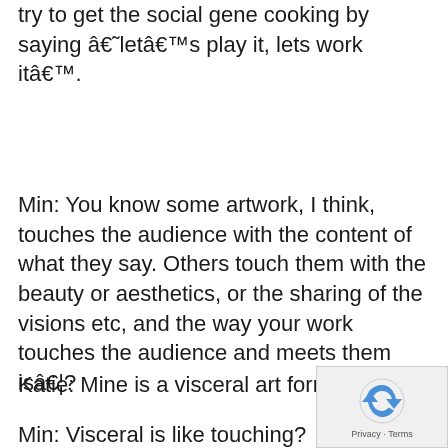try to get the social gene cooking by saying â€˜letâ€™s play it, lets work itâ€™.
Min: You know some artwork, I think, touches the audience with the content of what they say. Others touch them with the beauty or aesthetics, or the sharing of the visions etc, and the way your work touches the audience and meets them isâ€¦?
Katie: Mine is a visceral art form.
Min: Visceral is like touching?